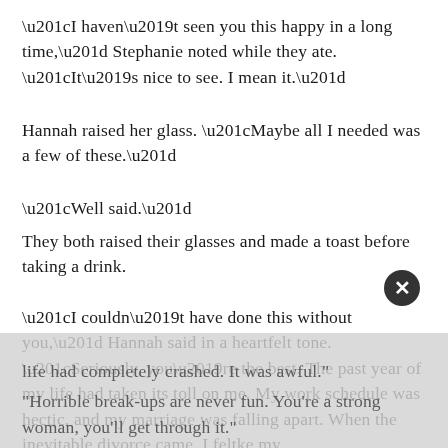“I haven’t seen you this happy in a long time,” Stephanie noted while they ate. “It’s nice to see. I mean it.”
Hannah raised her glass. “Maybe all I needed was a few of these.”
“Well said.”
They both raised their glasses and made a toast before taking a drink.
“I couldn’t have done this without you,” Hannah said in a heartfelt tone. “Seriously, you’re the best. The past year of my life had taken its toll on me. My work schedule was hectic, and my marriage was falling apart. When the inevitable divorce came, I felt like my life had completely crashed. It was awful.”
“Horrible break-ups are never fun. You’re a strong woman, you’ll get through it.”